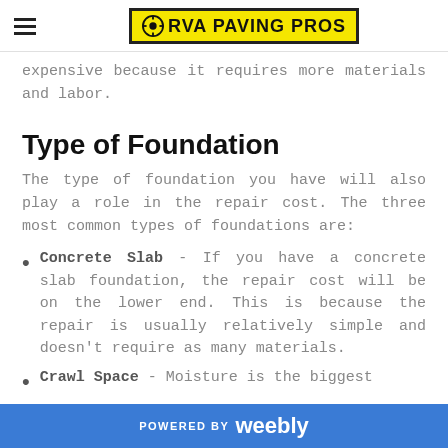RVA PAVING PROS
expensive because it requires more materials and labor.
Type of Foundation
The type of foundation you have will also play a role in the repair cost. The three most common types of foundations are:
Concrete Slab - If you have a concrete slab foundation, the repair cost will be on the lower end. This is because the repair is usually relatively simple and doesn't require as many materials.
Crawl Space - Moisture is the biggest
POWERED BY weebly